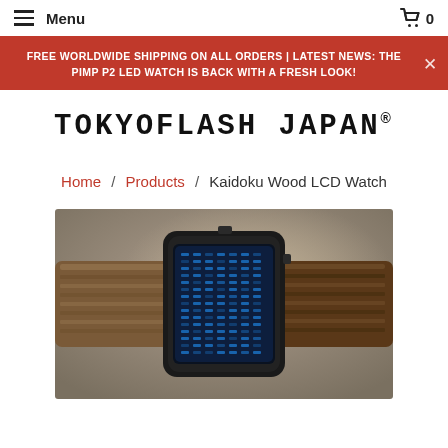Menu  |  Cart 0
FREE WORLDWIDE SHIPPING ON ALL ORDERS | LATEST NEWS: THE PIMP P2 LED WATCH IS BACK WITH A FRESH LOOK!
TOKYOFLASH JAPAN®
Home / Products / Kaidoku Wood LCD Watch
[Figure (photo): Close-up product photo of the Kaidoku Wood LCD Watch showing a wooden strap and a dark rectangular watch face with a blue LCD display showing a grid/matrix pattern, set against a blurred grey-brown background.]